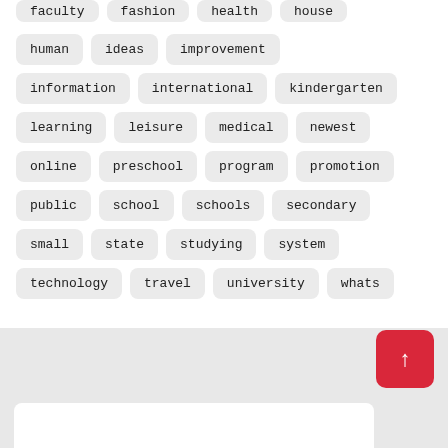faculty
fashion
health
house
human
ideas
improvement
information
international
kindergarten
learning
leisure
medical
newest
online
preschool
program
promotion
public
school
schools
secondary
small
state
studying
system
technology
travel
university
whats
↑